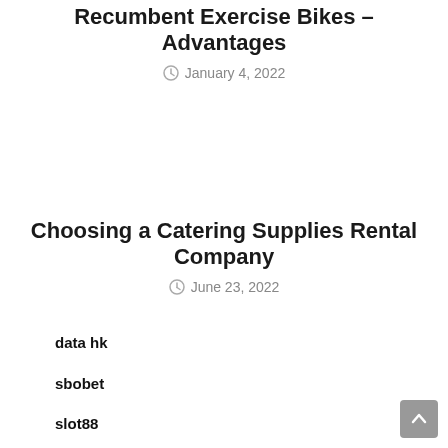Recumbent Exercise Bikes – Advantages
January 4, 2022
Choosing a Catering Supplies Rental Company
June 23, 2022
data hk
sbobet
slot88